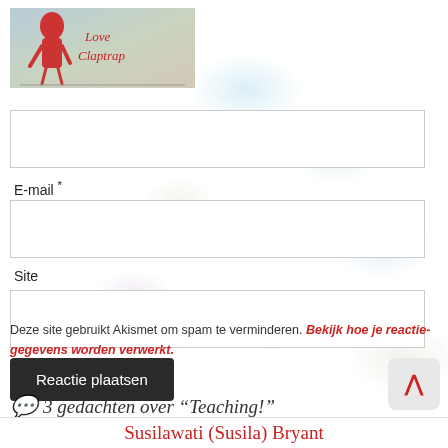[Figure (logo): Blog logo with illustrated woman figure and red cursive text 'Love Claptrap']
E-mail *
[Figure (other): Empty input field for E-mail]
Site
[Figure (other): Empty input field for Site]
Reactie plaatsen
Deze site gebruikt Akismet om spam te verminderen. Bekijk hoe je reactie-gegevens worden verwerkt.
3 gedachten over “Teaching!”
Susilawati (Susila) Bryant